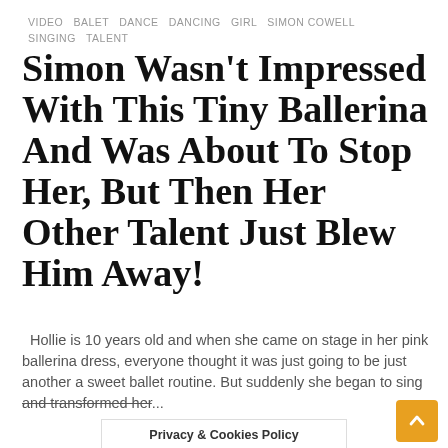VIDEO  BALET  DANCE  DANCING  GIRL  SIMON COWELL  SINGING  TALENT
Simon Wasn't Impressed With This Tiny Ballerina And Was About To Stop Her, But Then Her Other Talent Just Blew Him Away!
Hollie is 10 years old and when she came on stage in her pink ballerina dress, everyone thought it was just going to be just another a sweet ballet routine. But suddenly she began to sing and transformed her...
Privacy & Cookies Policy